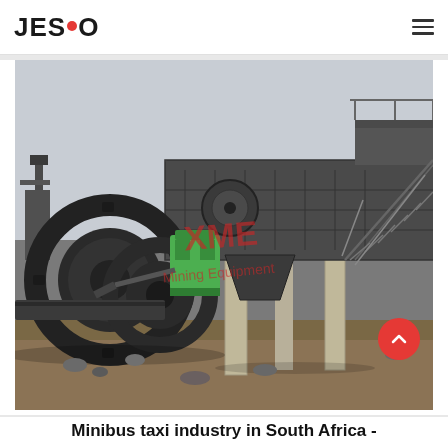JESCO
[Figure (photo): Industrial mining equipment scene showing large wheel/tyre machinery on the left, a metal screening/vibrating machine structure with stairs and concrete pillars in the center-right, with an XME Mining Equipment watermark overlay. Outdoor setting with dirt ground and overcast sky.]
Minibus taxi industry in South Africa -